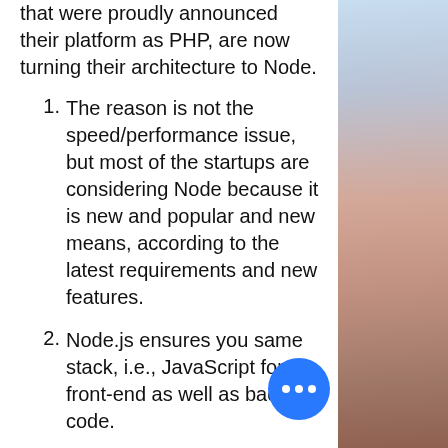that were proudly announced their platform as PHP, are now turning their architecture to Node.
The reason is not the speed/performance issue, but most of the startups are considering Node because it is new and popular and new means, according to the latest requirements and new features.
Node.js ensures you same stack, i.e., JavaScript for front-end as well as backend code.
Shifting from PHP to Node is not as easy as it looks like because PHP has lead of the hosting servers.
[Figure (photo): A blurred photo of a person working with a device, visible on the right side of the page]